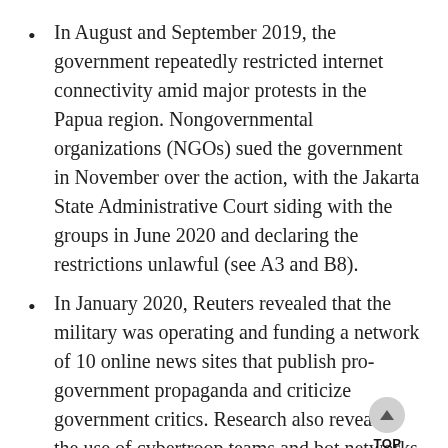In August and September 2019, the government repeatedly restricted internet connectivity amid major protests in the Papua region. Nongovernmental organizations (NGOs) sued the government in November over the action, with the Jakarta State Administrative Court siding with the groups in June 2020 and declaring the restrictions unlawful (see A3 and B8).
In January 2020, Reuters revealed that the military was operating and funding a network of 10 online news sites that publish pro-government propaganda and criticize government critics. Research also revealed the use of cybertroop teams and bot networks spreading disinformation, including around the 2019 protests in Papua and West Papua (see B5).
Criminal charges were filed against journalists, activists, and ordinary members of the public. In